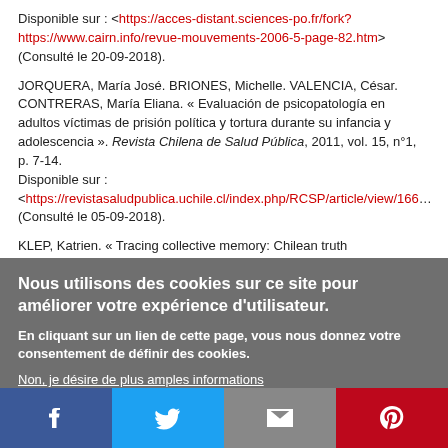Disponible sur : <https://acces-distant.sciences-po.fr/fork?https://www.cairn.info/revue-mouvements-2006-5-page-82.htm> (Consulté le 20-09-2018).
JORQUERA, María José. BRIONES, Michelle. VALENCIA, César. CONTRERAS, María Eliana. « Evaluación de psicopatología en adultos víctimas de prisión política y tortura durante su infancia y adolescencia ». Revista Chilena de Salud Pública, 2011, vol. 15, n°1, p. 7-14.
Disponible sur :
<https://revistasaludpublica.uchile.cl/index.php/RCSP/article/view/166…> (Consulté le 05-09-2018).
KLEP, Katrien. « Tracing collective memory: Chilean truth …
Nous utilisons des cookies sur ce site pour améliorer votre expérience d'utilisateur.

En cliquant sur un lien de cette page, vous nous donnez votre consentement de définir des cookies.

Non, je désire de plus amples informations

OUI, JE SUIS D'ACCORD